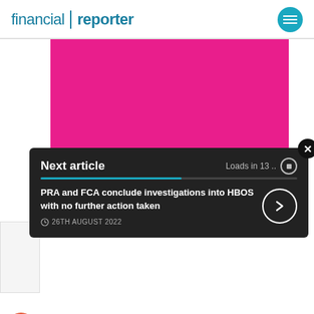financial reporter
[Figure (other): Solid magenta/pink rectangular block, decorative image placeholder]
Next article
Loads in 13 ..
PRA and FCA conclude investigations into HBOS with no further action taken
26TH AUGUST 2022